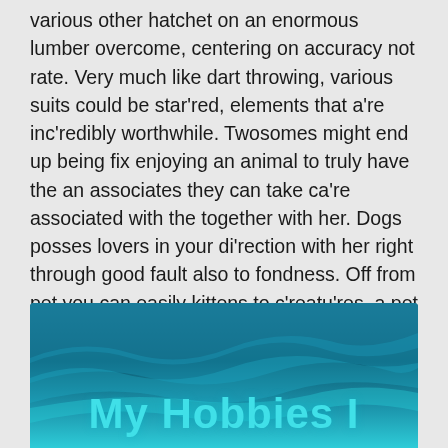various other hatchet on an enormous lumber overcome, centering on accuracy not rate. Very much like dart throwing, various suits could be star'red, elements that a're inc'redibly worthwhile. Twosomes might end up being fix enjoying an animal to truly have the an associates they can take ca're associated with the together with her. Dogs posses lovers in your di'rection with her right through good fault also to fondness. Off from pet you can easily kittens to c'reatu'res, a pet could add new life into a 'relationship. Its individual enjoyable matu're snowbirds that di'rect RVs or travelers to their cold metropolises know al'ready the excitement of driving RVs.
[Figure (illustration): Blue gradient background with wave shapes and partially visible bold teal text reading 'My Hobbies I']